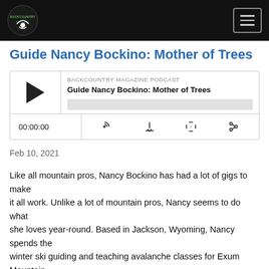BACKCOUNTRY PODCAST — Navigation header with logo and menu button
Guide Nancy Bockino: Mother of Trees
[Figure (other): Podcast audio player widget showing BACKCOUNTRY MAGAZINE PODCAST episode 'Guide Nancy Bockino: Mother of Trees' with play button, progress bar, time display 00:00:00, and control icons for RSS, download, embed, and share]
Feb 10, 2021
Like all mountain pros, Nancy Bockino has had a lot of gigs to make it all work. Unlike a lot of mountain pros, Nancy seems to do what she loves year-round. Based in Jackson, Wyoming, Nancy spends the winter ski guiding and teaching avalanche classes for Exum Mountain Guides in the Tetons. Come spring she's off to…